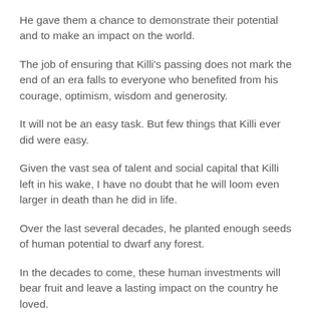He gave them a chance to demonstrate their potential and to make an impact on the world.
The job of ensuring that Killi's passing does not mark the end of an era falls to everyone who benefited from his courage, optimism, wisdom and generosity.
It will not be an easy task. But few things that Killi ever did were easy.
Given the vast sea of talent and social capital that Killi left in his wake, I have no doubt that he will loom even larger in death than he did in life.
Over the last several decades, he planted enough seeds of human potential to dwarf any forest.
In the decades to come, these human investments will bear fruit and leave a lasting impact on the country he loved.